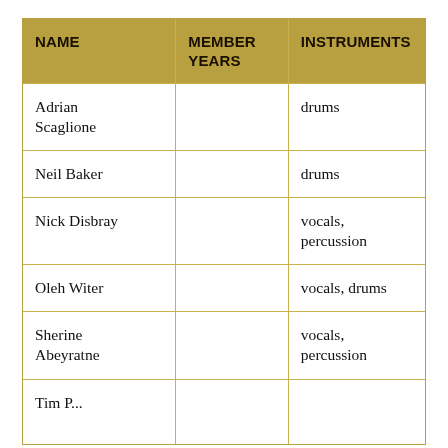| NAME | MEMBER YEARS | INSTRUMENTS |
| --- | --- | --- |
| Adrian Scaglione |  | drums |
| Neil Baker |  | drums |
| Nick Disbray |  | vocals, percussion |
| Oleh Witer |  | vocals, drums |
| Sherine Abeyratne |  | vocals, percussion |
| Tim P... |  | ... |